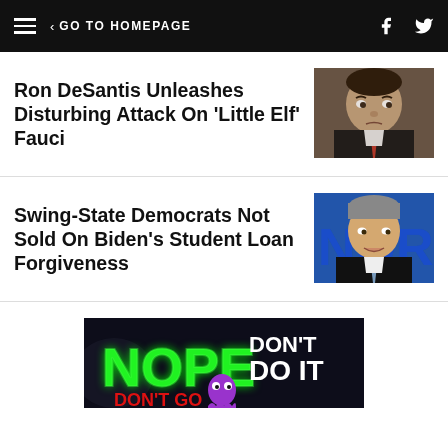GO TO HOMEPAGE
Ron DeSantis Unleashes Disturbing Attack On 'Little Elf' Fauci
[Figure (photo): Close-up photo of Ron DeSantis in a dark suit with red tie, serious expression]
Swing-State Democrats Not Sold On Biden's Student Loan Forgiveness
[Figure (photo): Man speaking at podium in front of blue background with partial letters NOR visible]
[Figure (photo): Dark promotional image with green neon NOPE text and DON'T DO IT, colorful ghost characters, horror movie style]